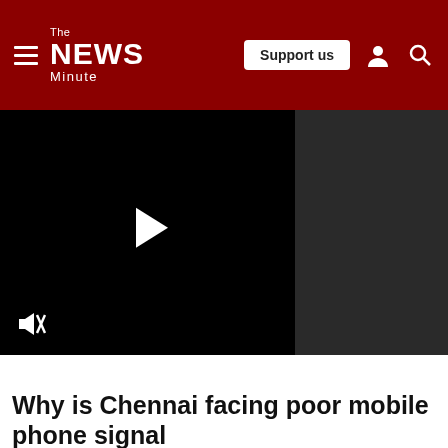The News Minute — Support us
[Figure (screenshot): Video player with black background, white play button triangle in center, mute icon at bottom-left, and dark sidebar on the right]
Why is Chennai facing poor mobile phone signal